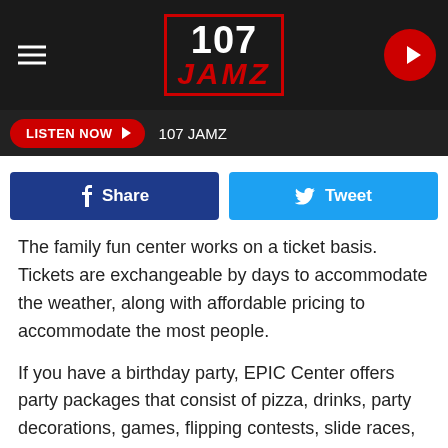107 JAMZ
LISTEN NOW  107 JAMZ
[Figure (screenshot): Facebook Share button (dark blue) and Tweet button (light blue) side by side]
The family fun center works on a ticket basis. Tickets are exchangeable by days to accommodate the weather, along with affordable pricing to accommodate the most people.
If you have a birthday party, EPIC Center offers party packages that consist of pizza, drinks, party decorations, games, flipping contests, slide races, and party heroes. As an added bonus, the birthday boy or girl will get a free jump from the Leap of Faith (one of their many attractions).